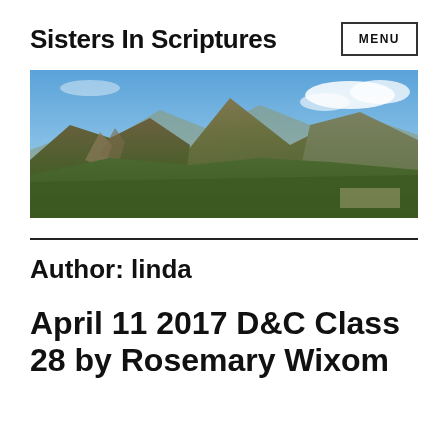Sisters In Scriptures
[Figure (photo): Panoramic aerial view of mountain range with green forested slopes under a blue sky with light clouds]
Author: linda
April 11 2017 D&C Class 28 by Rosemary Wixom